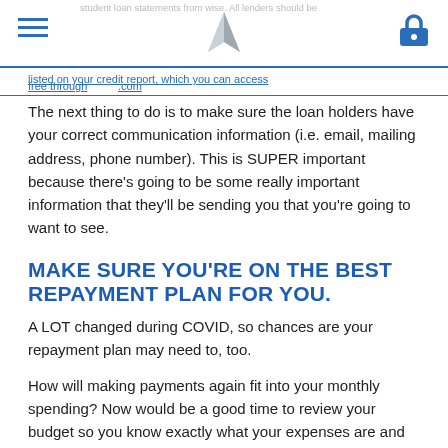[Navigation header with hamburger menu, logo, and lock icon]
The next thing to do is to make sure the loan holders have your correct communication information (i.e. email, mailing address, phone number). This is SUPER important because there's going to be some really important information that they'll be sending you that you're going to want to see.
MAKE SURE YOU'RE ON THE BEST REPAYMENT PLAN FOR YOU.
A LOT changed during COVID, so chances are your repayment plan may need to, too.
How will making payments again fit into your monthly spending? Now would be a good time to review your budget so you know exactly what your expenses are and what you can afford to pay.
Consolidation, rolling several smaller loans into one big